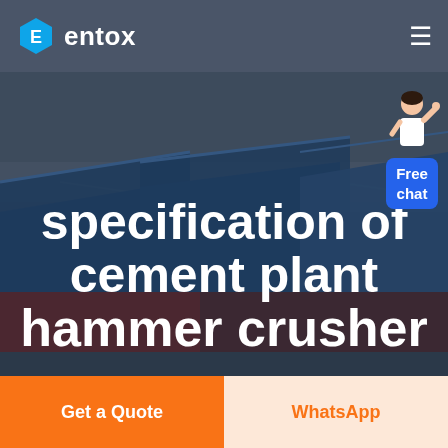entox
[Figure (photo): Aerial/ground view of a cement plant industrial facility with large blue-roofed warehouse structures, seen from above at an angle. The scene shows industrial buildings with a wide flat landscape in the background.]
specification of cement plant hammer crusher
[Figure (illustration): Customer service representative figure with hand raised, next to a blue chat bubble widget labeled 'Free chat']
Get a Quote
WhatsApp